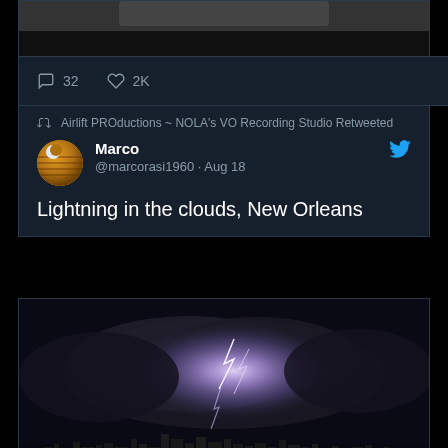[Figure (screenshot): Partial top of a tweet card showing a cropped image on dark background]
32   2K
Airlift PROductions ~ NOLA's VO Recording Studio Retweeted
Marco @marcorasi1960 · Aug 18
Lightning in the clouds, New Orleans
[Figure (photo): Night photo of lightning illuminating storm clouds over the New Orleans city skyline]
13   829